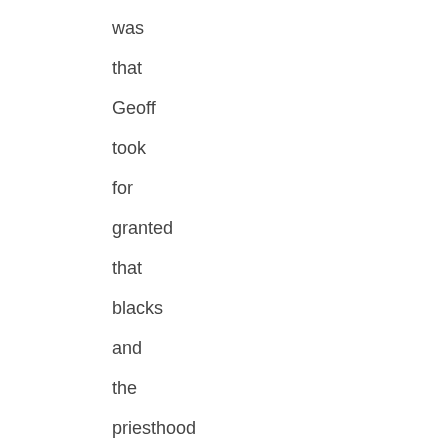was that Geoff took for granted that blacks and the priesthood was based on a cultural bias, while current views about the sinfulness of gay sex are